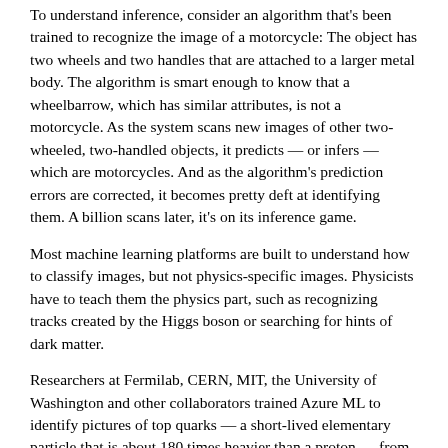To understand inference, consider an algorithm that's been trained to recognize the image of a motorcycle: The object has two wheels and two handles that are attached to a larger metal body. The algorithm is smart enough to know that a wheelbarrow, which has similar attributes, is not a motorcycle. As the system scans new images of other two-wheeled, two-handled objects, it predicts — or infers — which are motorcycles. And as the algorithm's prediction errors are corrected, it becomes pretty deft at identifying them. A billion scans later, it's on its inference game.
Most machine learning platforms are built to understand how to classify images, but not physics-specific images. Physicists have to teach them the physics part, such as recognizing tracks created by the Higgs boson or searching for hints of dark matter.
Researchers at Fermilab, CERN, MIT, the University of Washington and other collaborators trained Azure ML to identify pictures of top quarks — a short-lived elementary particle that is about 180 times heavier than a proton — from simulated CMS data. Specifically, Azure was to look for images of top quark jets, clouds of particles pulled out of the vacuum by a single top quark zinging away from the collision.
“We sent it the images, training it on physics data,” said Fermilab scientist Burt Holzman, a lead on the project. “And it exhibited state-